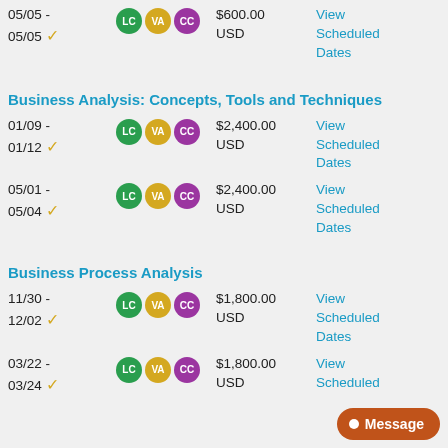05/05 - 05/05 ✓  LC VA CC  $600.00 USD  View Scheduled Dates
Business Analysis: Concepts, Tools and Techniques
01/09 - 01/12 ✓  LC VA CC  $2,400.00 USD  View Scheduled Dates
05/01 - 05/04 ✓  LC VA CC  $2,400.00 USD  View Scheduled Dates
Business Process Analysis
11/30 - 12/02 ✓  LC VA CC  $1,800.00 USD  View Scheduled Dates
03/22 - 03/24 ✓  LC VA CC  $1,800.00 USD  View Scheduled